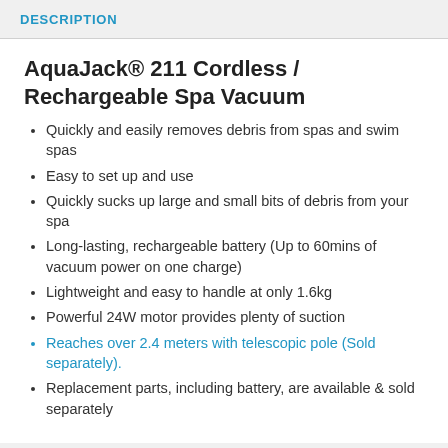DESCRIPTION
AquaJack® 211 Cordless / Rechargeable Spa Vacuum
Quickly and easily removes debris from spas and swim spas
Easy to set up and use
Quickly sucks up large and small bits of debris from your spa
Long-lasting, rechargeable battery (Up to 60mins of vacuum power on one charge)
Lightweight and easy to handle at only 1.6kg
Powerful 24W motor provides plenty of suction
Reaches over 2.4 meters with telescopic pole (Sold separately).
Replacement parts, including battery, are available & sold separately